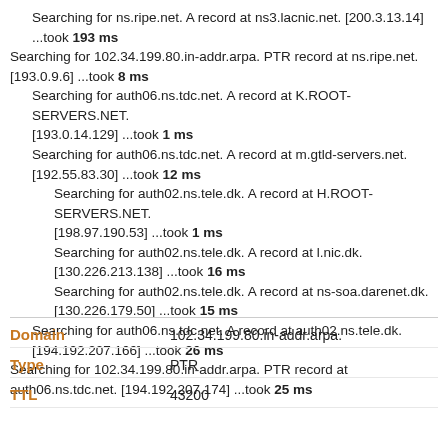Searching for ns.ripe.net. A record at ns3.lacnic.net. [200.3.13.14] ...took 193 ms
Searching for 102.34.199.80.in-addr.arpa. PTR record at ns.ripe.net. [193.0.9.6] ...took 8 ms
Searching for auth06.ns.tdc.net. A record at K.ROOT-SERVERS.NET. [193.0.14.129] ...took 1 ms
Searching for auth06.ns.tdc.net. A record at m.gtld-servers.net. [192.55.83.30] ...took 12 ms
Searching for auth02.ns.tele.dk. A record at H.ROOT-SERVERS.NET. [198.97.190.53] ...took 1 ms
Searching for auth02.ns.tele.dk. A record at l.nic.dk. [130.226.213.138] ...took 16 ms
Searching for auth02.ns.tele.dk. A record at ns-soa.darenet.dk. [130.226.179.50] ...took 15 ms
Searching for auth06.ns.tdc.net. A record at auth02.ns.tele.dk. [194.192.207.166] ...took 26 ms
Searching for 102.34.199.80.in-addr.arpa. PTR record at auth06.ns.tdc.net. [194.192.207.174] ...took 25 ms
| Field | Value |
| --- | --- |
| Domain | 102.34.199.80.in-addr.arpa. |
| Type | PTR |
| TTL | 43200 |